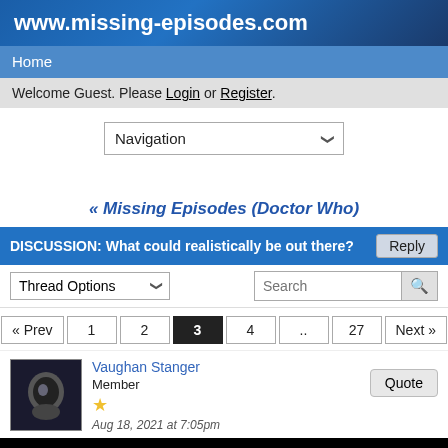www.missing-episodes.com
Home
Welcome Guest. Please Login or Register.
Navigation
« Missing Episodes (Doctor Who)
DISCUSSION: What could realistically be out there?
Thread Options
Search
« Prev 1 2 3 4 .. 27 Next »
Vaughan Stanger
Member
★
Aug 18, 2021 at 7:05pm
Quote